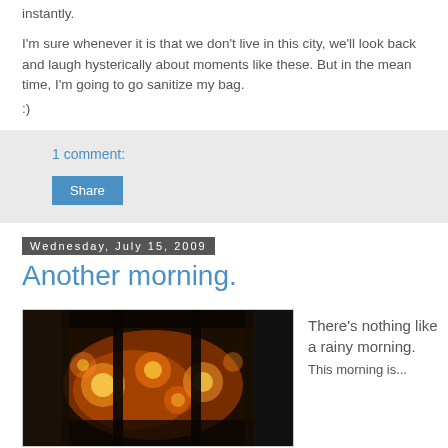instantly.
I'm sure whenever it is that we don't live in this city, we'll look back and laugh hysterically about moments like these. But in the mean time, I'm going to go sanitize my bag.
:)
1 comment:
Share
Wednesday, July 15, 2009
Another morning.
[Figure (photo): Photo of a rainy morning view through a window with warm lights visible outside, dark silhouettes framing a blurry bokeh of orange and yellow lights]
There's nothing like a rainy morning.
This morning is...